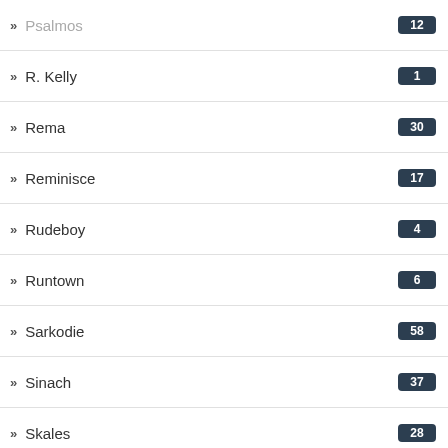Psalmos 12
R. Kelly 1
Rema 30
Reminisce 17
Rudeboy 4
Runtown 6
Sarkodie 58
Sinach 37
Skales 28
Tekno 34
The Glory Dome Choir 1
Timaya 69
Timi Dakolo 6